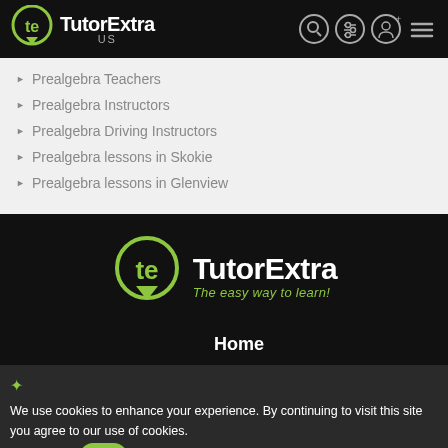TutorExtra US
Prealgebra Teachers
Prealgebra Instructors
Prealgebra Driving Instructors
Prealgebra lessons in Skokie
Prealgebra lessons in Glenview
[Figure (logo): TutorExtra logo with green circle and 'te' monogram, white text 'TutorExtra' and green italic tagline 'The easy way to learn!']
Home
We use cookies to enhance your experience. By continuing to visit this site you agree to our use of cookies. Read more OK